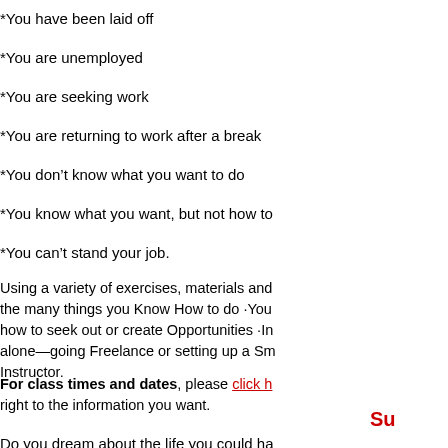*You have been laid off
*You are unemployed
*You are seeking work
*You are returning to work after a break
*You don’t know what you want to do
*You know what you want, but not how to
*You can’t stand your job.
Using a variety of exercises, materials and the many things you Know How to do ·You how to seek out or create Opportunities ·In alone—going Freelance or setting up a Sm Instructor.
For class times and dates, please click h right to the information you want.
Su
Do you dream about the life you could ha